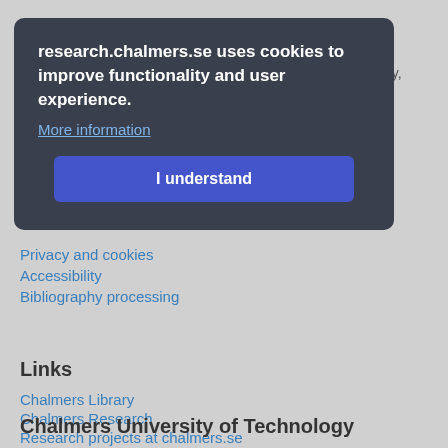About
research.chalmers.se uses cookies to improve functionality and user experience.
More information
I understand
research information from Chalmers University of Technology, Sweden. It includes information on projects, publications, research funders and collaborations.
More about coverage, periods and... is publicly available
Privacy and cookies
Accessibility
Bibliography processing
Links
Chalmers Library
Chalmers Research
Research projects at chalmers.se
Chalmers University of Technology